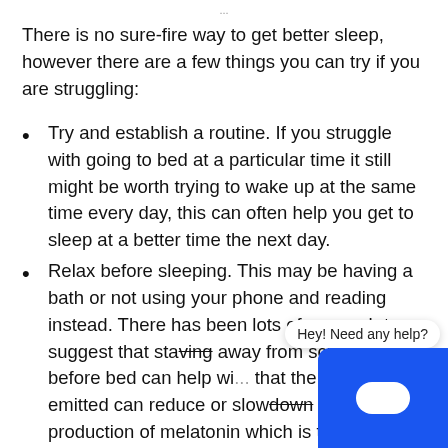...
There is no sure-fire way to get better sleep, however there are a few things you can try if you are struggling:
Try and establish a routine. If you struggle with going to bed at a particular time it still might be worth trying to wake up at the same time every day, this can often help you get to sleep at a better time the next day.
Relax before sleeping. This may be having a bath or not using your phone and reading instead. There has been lots of research to suggest that staying away from screens before bed can help wi... that the blue light emitted can reduce or slow down the natural production of melatonin which is t... chemical that helps us to feel sleepy, therefor...